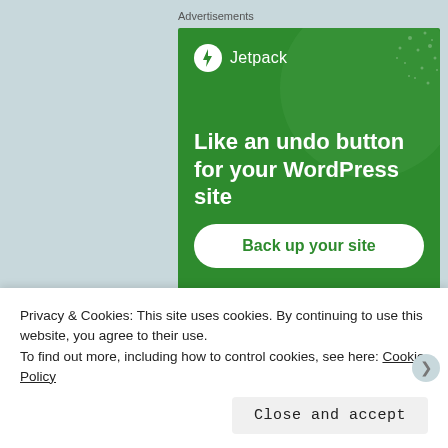Advertisements
[Figure (illustration): Jetpack advertisement banner with green background, circular decorative shape, Jetpack logo at top left, headline 'Like an undo button for your WordPress site', and a white rounded button reading 'Back up your site']
Share this:
Privacy & Cookies: This site uses cookies. By continuing to use this website, you agree to their use.
To find out more, including how to control cookies, see here: Cookie Policy
Close and accept